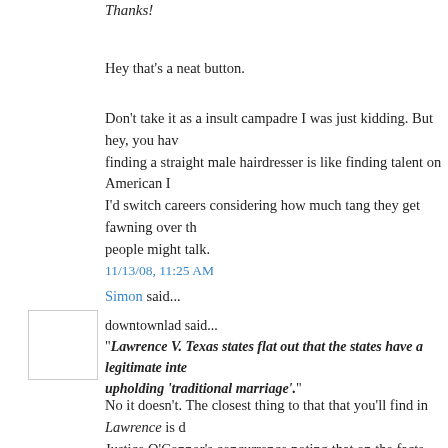Thanks!
Hey that's a neat button.
Don't take it as a insult campadre I was just kidding. But hey, you have finding a straight male hairdresser is like finding talent on American I'd switch careers considering how much tang they get fawning over th people might talk.
11/13/08, 11:25 AM
Simon said...
downtownlad said...
"Lawrence V. Texas states flat out that the states have a legitimate inte upholding 'traditional marriage'."
No it doesn't. The closest thing to that that you'll find in Lawrence is d Justice O'Connor's concurrence noting that on the facts presented, Tex